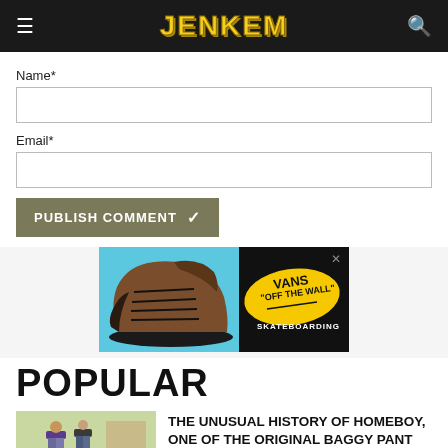JENKEM
Name*
Email*
PUBLISH COMMENT ✓
[Figure (photo): Vans Skateboarding advertisement showing a high-top brown suede sneaker on a cyan/light-blue background with Vans 'Off The Wall' logo and 'SKATEBOARDING' text on a black background.]
POPULAR
[Figure (photo): Photo of people wearing baggy pants outdoors on grass]
THE UNUSUAL HISTORY OF HOMEBOY, ONE OF THE ORIGINAL BAGGY PANT BRANDS